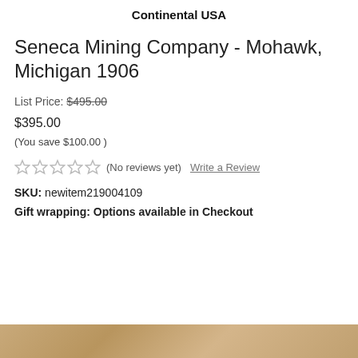Continental USA
Seneca Mining Company - Mohawk, Michigan 1906
List Price: $495.00
$395.00
(You save $100.00 )
★★★★★ (No reviews yet)  Write a Review
SKU: newitem219004109
Gift wrapping: Options available in Checkout
[Figure (photo): Bottom edge of a document or object, showing a tan/gold colored surface, partially visible at the bottom of the page.]